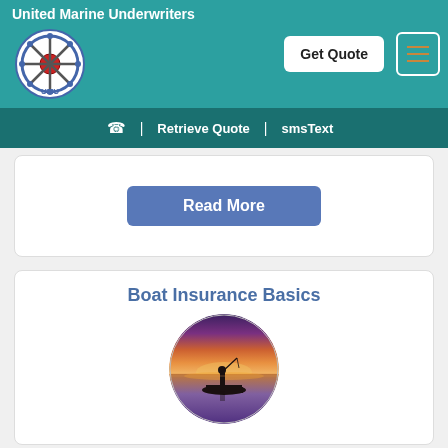United Marine Underwriters
[Figure (logo): United Marine Underwriters ship wheel logo with UMU text]
[Figure (screenshot): Get Quote button — white rounded rectangle with bold text]
[Figure (screenshot): Hamburger menu icon in white-bordered box]
| Retrieve Quote | smsText
[Figure (screenshot): Read More button — blue rounded rectangle]
Boat Insurance Basics
[Figure (photo): Circular photo of a silhouetted person fishing from a boat at sunset on a calm lake with orange and purple sky]